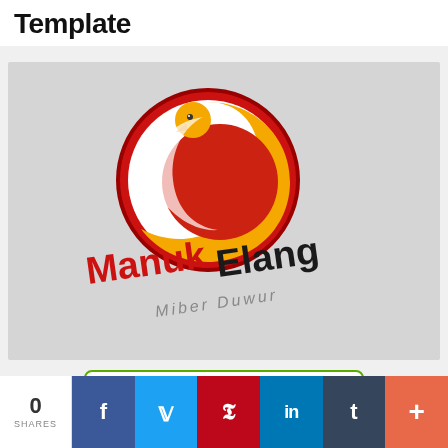Template
[Figure (logo): ManukElang logo — a red/orange circular eagle emblem with the text 'ManukElang' in bold red and black, and 'Miber Duwur' in italic grey, on a light grey textured background]
DOWNLOAD NOW ↓
0 SHARES
f  Twitter  Pinterest  in  t  +